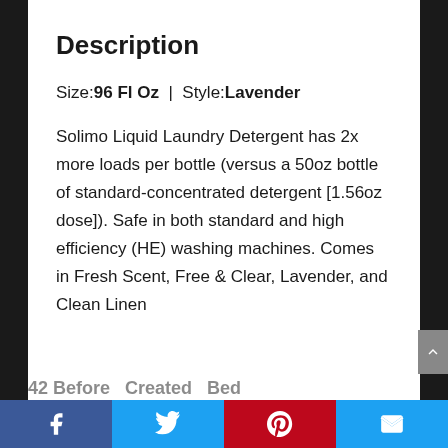Description
Size: 96 Fl Oz  |  Style: Lavender
Solimo Liquid Laundry Detergent has 2x more loads per bottle (versus a 50oz bottle of standard-concentrated detergent [1.56oz dose]). Safe in both standard and high efficiency (HE) washing machines. Comes in Fresh Scent, Free & Clear, Lavender, and Clean Linen
Facebook | Twitter | Pinterest | Email